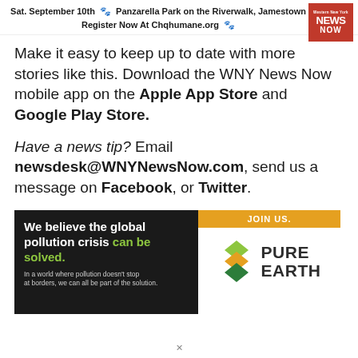Sat. September 10th 🐾 Panzarella Park on the Riverwalk, Jamestown
Register Now At Chqhumane.org 🐾
Make it easy to keep up to date with more stories like this. Download the WNY News Now mobile app on the Apple App Store and Google Play Store.
Have a news tip? Email newsdesk@WNYNewsNow.com, send us a message on Facebook, or Twitter.
[Figure (infographic): Pure Earth advertisement banner. Left side: dark background with text 'We believe the global pollution crisis can be solved.' and small subtext. Right side: white background with orange 'JOIN US.' bar at top and Pure Earth logo with diamond/chevron icon and 'PURE EARTH' text.]
X